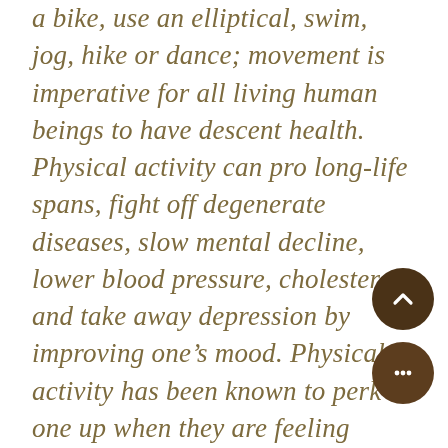a bike, use an elliptical, swim, jog, hike or dance; movement is imperative for all living human beings to have descent health. Physical activity can pro long-life spans, fight off degenerate diseases, slow mental decline, lower blood pressure, cholesterol and take away depression by improving one's mood. Physical activity has been known to perk one up when they are feeling down and change your entire world around for the better. Something little as a 20 or 30-minute brisk walk 3 to 5 times a week is better than doing anything at all to start. You want to work yourself up to an hour a